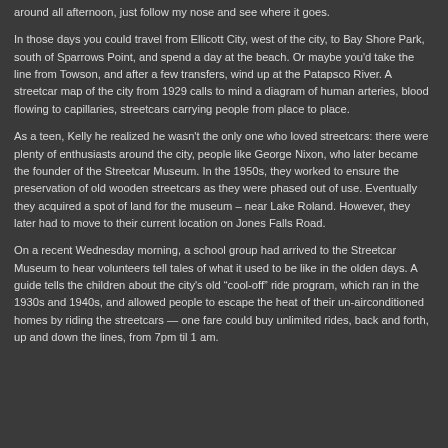around all afternoon, just follow my nose and see where it goes.
In those days you could travel from Ellicott City, west of the city, to Bay Shore Park, south of Sparrows Point, and spend a day at the beach. Or maybe you'd take the line from Towson, and after a few transfers, wind up at the Patapsco River. A streetcar map of the city from 1929 calls to mind a diagram of human arteries, blood flowing to capillaries, streetcars carrying people from place to place.
As a teen, Kelly he realized he wasn't the only one who loved streetcars: there were plenty of enthusiasts around the city, people like George Nixon, who later became the founder of the Streetcar Museum. In the 1950s, they worked to ensure the preservation of old wooden streetcars as they were phased out of use. Eventually they acquired a spot of land for the museum – near Lake Roland. However, they later had to move to their current location on Jones Falls Road.
On a recent Wednesday morning, a school group had arrived to the Streetcar Museum to hear volunteers tell tales of what it used to be like in the olden days. A guide tells the children about the city's old "cool-off" ride program, which ran in the 1930s and 1940s, and allowed people to escape the heat of their un-airconditioned homes by riding the streetcars — one fare could buy unlimited rides, back and forth, up and down the lines, from 7pm til 1 am.